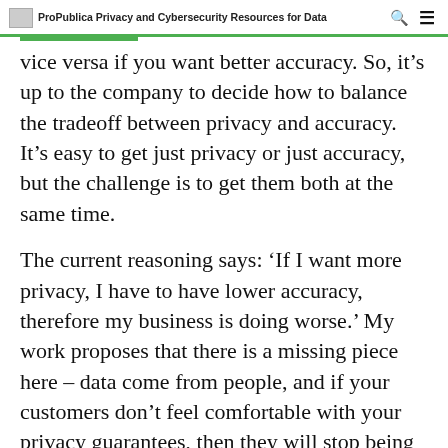ProPublica Privacy and Cybersecurity Resources for Data
vice versa if you want better accuracy. So, it's up to the company to decide how to balance the tradeoff between privacy and accuracy. It's easy to get just privacy or just accuracy, but the challenge is to get them both at the same time.
The current reasoning says: 'If I want more privacy, I have to have lower accuracy, therefore my business is doing worse.' My work proposes that there is a missing piece here – data come from people, and if your customers don't feel comfortable with your privacy guarantees, then they will stop being